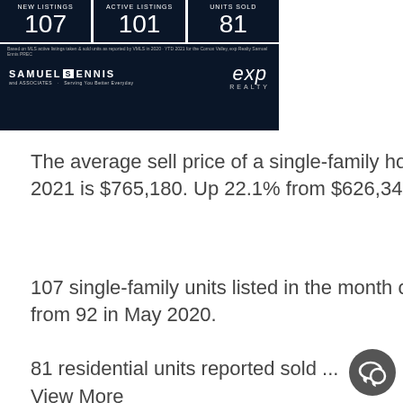[Figure (infographic): Dark navy infographic showing real estate stats: NEW LISTINGS 107, ACTIVE LISTINGS 101, UNITS SOLD 81. Below: Samuel Ennis & Associates logo and eXp Realty logo on dark background.]
The average sell price of a single-family home for the month of May 2021 is $765,180. Up 22.1% from $626,343 in May 2020.
107 single-family units listed in the month of May 2021, up 16.3% from 92 in May 2020.
81 residential units reported sold ...
View More